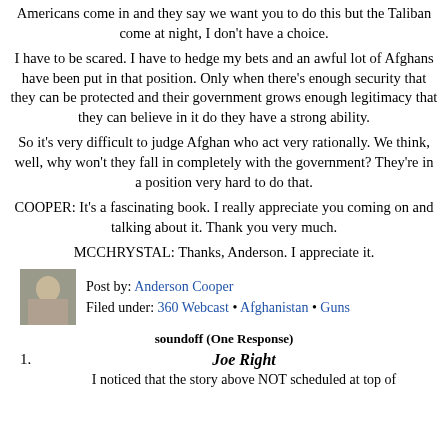Americans come in and they say we want you to do this but the Taliban come at night, I don't have a choice.
I have to be scared. I have to hedge my bets and an awful lot of Afghans have been put in that position. Only when there's enough security that they can be protected and their government grows enough legitimacy that they can believe in it do they have a strong ability.
So it's very difficult to judge Afghan who act very rationally. We think, well, why won't they fall in completely with the government? They're in a position very hard to do that.
COOPER: It's a fascinating book. I really appreciate you coming on and talking about it. Thank you very much.
MCCHRYSTAL: Thanks, Anderson. I appreciate it.
Post by: Anderson Cooper
Filed under: 360 Webcast • Afghanistan • Guns
soundoff (One Response)
1.
Joe Right
I noticed that the story above NOT scheduled at top of